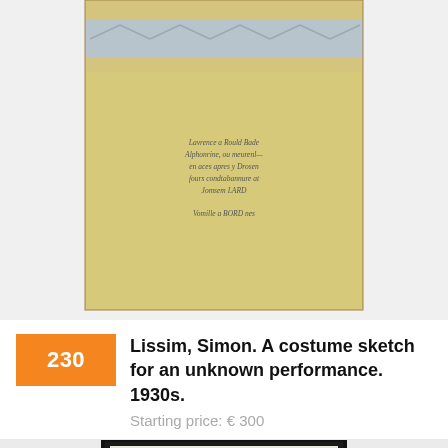[Figure (photo): Auction catalog image of a costume sketch on tan/gold paper with decorative border at top and handwritten inscription in the lower portion, shown partially cropped.]
230
Lissim, Simon. A costume sketch for an unknown performance. 1930s.
Starting price: € 300
[Figure (photo): Auction catalog image of a framed costume sketch showing two women in blue ball gowns with off-shoulder necklines, in a black frame with purple fabric swatches visible in the background.]